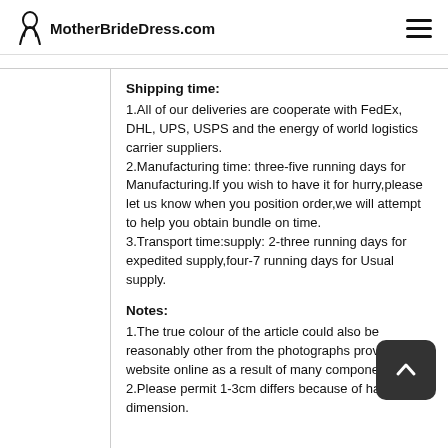MotherBrideDress.com
Shipping time:
1.All of our deliveries are cooperate with FedEx, DHL, UPS, USPS and the energy of world logistics carrier suppliers. 2.Manufacturing time: three-five running days for Manufacturing.If you wish to have it for hurry,please let us know when you position order,we will attempt to help you obtain bundle on time. 3.Transport time:supply: 2-three running days for expedited supply,four-7 running days for Usual supply.
Notes:
1.The true colour of the article could also be reasonably other from the photographs proven on website online as a result of many components. 2.Please permit 1-3cm differs because of handbook dimension.